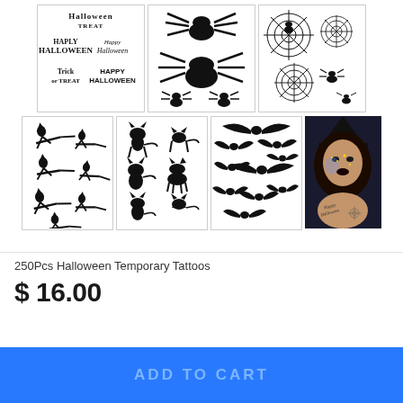[Figure (photo): Product image showing Halloween temporary tattoo sheets: row 1 has Halloween text stickers sheet, spider sheet, spiderweb sheet; row 2 has witch silhouettes sheet, black cat silhouettes sheet, bat silhouettes sheet, and a model photo showing tattoos applied on skin with Halloween witch makeup and 'Happy Halloween' tattoo on shoulder]
250Pcs Halloween Temporary Tattoos
$ 16.00
ADD TO CART